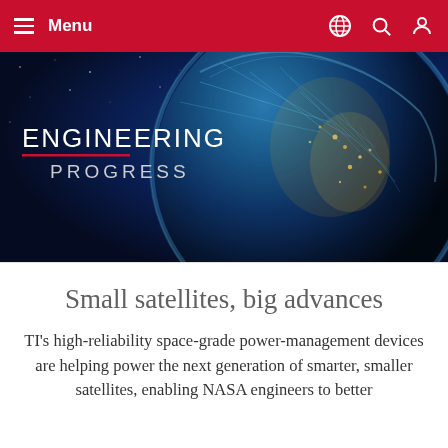Menu
[Figure (illustration): Engineering Progress banner with globe/Earth from space background, showing city lights and network connections, with text 'ENGINEERING PROGRESS' and a red underline accent]
Small satellites, big advances
TI's high-reliability space-grade power-management devices are helping power the next generation of smarter, smaller satellites, enabling NASA engineers to better